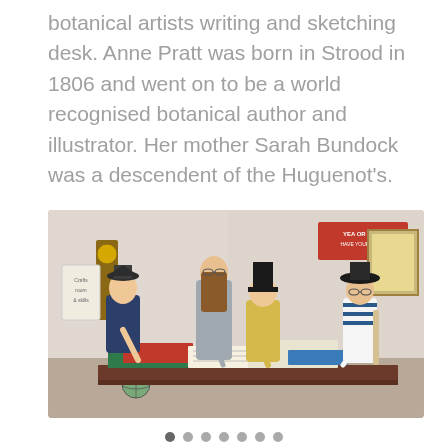botanical artists writing and sketching desk. Anne Pratt was born in Strood in 1806 and went on to be a world recognised botanical author and illustrator. Her mother Sarah Bundock was a descendent of the Huguenot's.
[Figure (photo): Museum educator and three children in period costume hats looking at documents and books spread on a large desk in a museum gallery. A red interactive display and antique clock visible in the background.]